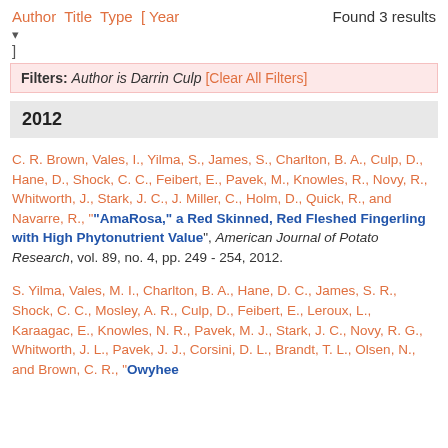Author Title Type [ Year   Found 3 results
]
Filters: Author is Darrin Culp [Clear All Filters]
2012
C. R. Brown, Vales, I., Yilma, S., James, S., Charlton, B. A., Culp, D., Hane, D., Shock, C. C., Feibert, E., Pavek, M., Knowles, R., Novy, R., Whitworth, J., Stark, J. C., J. Miller, C., Holm, D., Quick, R., and Navarre, R., "“AmaRosa,” a Red Skinned, Red Fleshed Fingerling with High Phytonutrient Value", American Journal of Potato Research, vol. 89, no. 4, pp. 249 - 254, 2012.
S. Yilma, Vales, M. I., Charlton, B. A., Hane, D. C., James, S. R., Shock, C. C., Mosley, A. R., Culp, D., Feibert, E., Leroux, L., Karaagac, E., Knowles, N. R., Pavek, M. J., Stark, J. C., Novy, R. G., Whitworth, J. L., Pavek, J. J., Corsini, D. L., Brandt, T. L., Olsen, N., and Brown, C. R., “Owyhee